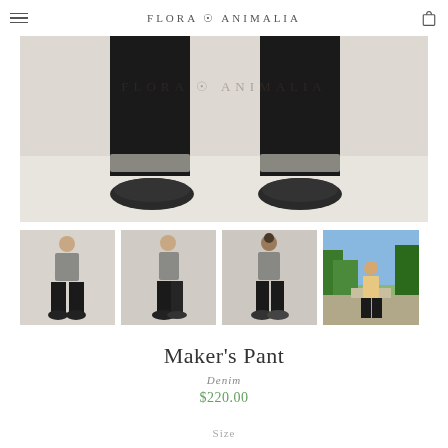FLORA ANIMALIA
[Figure (photo): Close-up photo of lower half of person wearing dark/black wide-leg denim pants with cuffed hems and black slip-on shoes, standing on light background. Flora Animalia logo watermark visible.]
[Figure (photo): Thumbnail: Front view of person wearing grey short-sleeve top and black tapered pants with black slip-on shoes.]
[Figure (photo): Thumbnail: Side view of person wearing grey short-sleeve top and black tapered pants with black slip-on shoes.]
[Figure (photo): Thumbnail: Back view of person wearing grey short-sleeve top and black tapered pants with black sandals.]
[Figure (photo): Thumbnail: Outdoor photo of person wearing yellow top and black pants, standing on elevated surface with trees in background.]
Maker's Pant
Denim
$220.00
Size